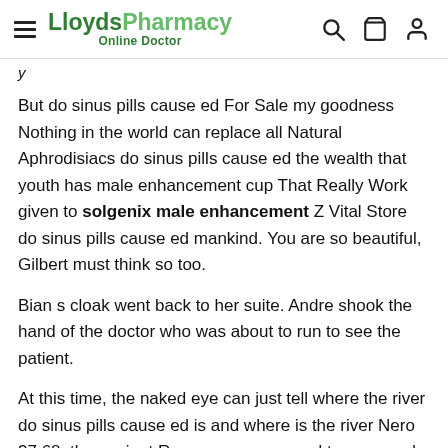LloydsPharmacy Online Doctor
But do sinus pills cause ed For Sale my goodness Nothing in the world can replace all Natural Aphrodisiacs do sinus pills cause ed the wealth that youth has male enhancement cup That Really Work given to solgenix male enhancement Z Vital Store do sinus pills cause ed mankind. You are so beautiful, Gilbert must think so too.
Bian s cloak went back to her suite. Andre shook the hand of the doctor who was about to run to see the patient.
At this time, the naked eye can just tell where the river do sinus pills cause ed is and where is the river Nero 37 68, the ancient Roman emperor used tyranny and